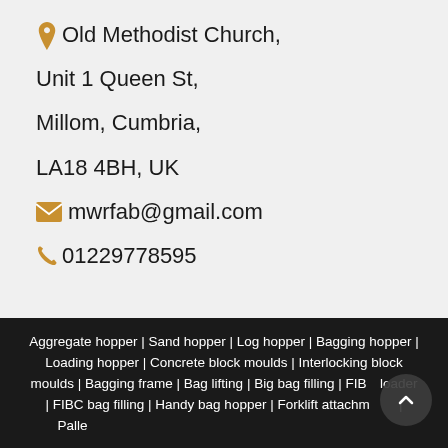Old Methodist Church, Unit 1 Queen St, Millom, Cumbria, LA18 4BH, UK
mwrfab@gmail.com
01229778595
Aggregate hopper | Sand hopper | Log hopper | Bagging hopper | Loading hopper | Concrete block moulds | Interlocking block moulds | Bagging frame | Bag lifting | Big bag filling | FIBC loader | FIBC bag filling | Handy bag hopper | Forklift attachments | Pallet attachments | Sand high | Container high | Forklift attachments